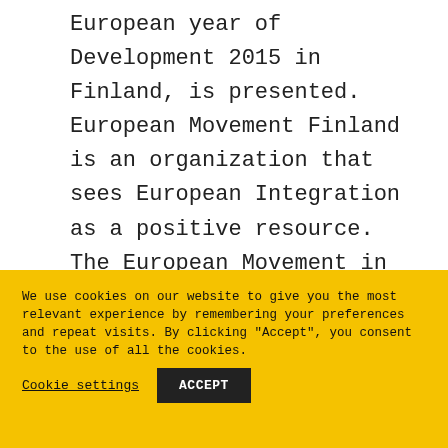European year of Development 2015 in Finland, is presented. European Movement Finland is an organization that sees European Integration as a positive resource. The European Movement in Finland is devoted to establishing a more efficient, transparent and democratic European Union.
We use cookies on our website to give you the most relevant experience by remembering your preferences and repeat visits. By clicking "Accept", you consent to the use of all the cookies.
Cookie settings
ACCEPT